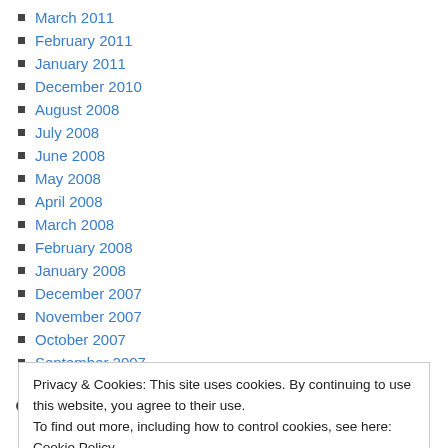March 2011
February 2011
January 2011
December 2010
August 2008
July 2008
June 2008
May 2008
April 2008
March 2008
February 2008
January 2008
December 2007
November 2007
October 2007
September 2007
August 2007
July 2007
Privacy & Cookies: This site uses cookies. By continuing to use this website, you agree to their use. To find out more, including how to control cookies, see here: Cookie Policy
December 2006